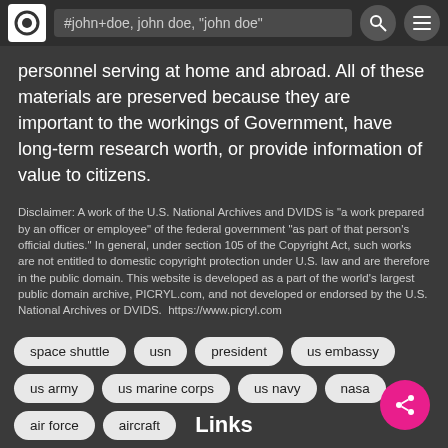#john+doe, john doe, "john doe"
personnel serving at home and abroad. All of these materials are preserved because they are important to the workings of Government, have long-term research worth, or provide information of value to citizens.
Disclaimer: A work of the U.S. National Archives and DVIDS is "a work prepared by an officer or employee" of the federal government "as part of that person's official duties." In general, under section 105 of the Copyright Act, such works are not entitled to domestic copyright protection under U.S. law and are therefore in the public domain. This website is developed as a part of the world's largest public domain archive, PICRYL.com, and not developed or endorsed by the U.S. National Archives or DVIDS.  https://www.picryl.com
space shuttle
usn
president
us embassy
us army
us marine corps
us navy
nasa
air force
aircraft
Links